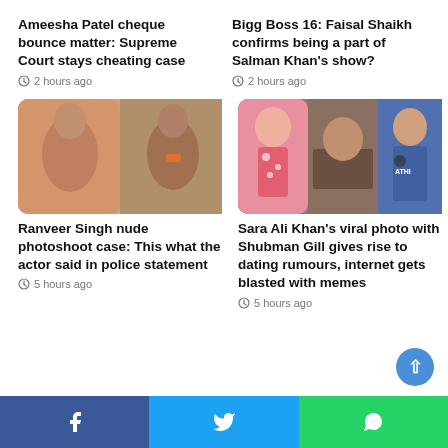Ameesha Patel cheque bounce matter: Supreme Court stays cheating case
2 hours ago
Bigg Boss 16: Faisal Shaikh confirms being a part of Salman Khan's show?
2 hours ago
[Figure (photo): Two male celebrities posing shirtless in a photo collage]
Ranveer Singh nude photoshoot case: This what the actor said in police statement
5 hours ago
[Figure (photo): Photo collage of Sara Ali Khan in a floral outfit and Shubman Gill in cricket jersey]
Sara Ali Khan's viral photo with Shubman Gill gives rise to dating rumours, internet gets blasted with memes
5 hours ago
Facebook | Twitter | WhatsApp